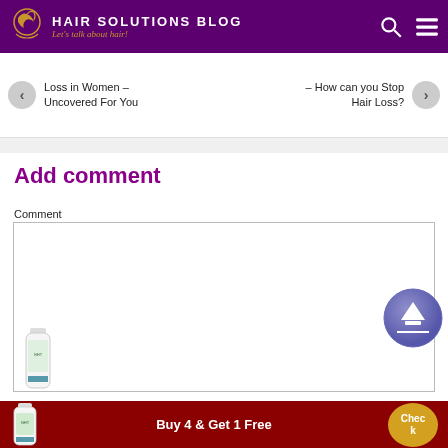HAIR SOLUTIONS BLOG — Let's talk about hair!
Loss in Women – Uncovered For You
– How can you Stop Hair Loss?
Add comment
Comment
[Figure (screenshot): Comment text input box (empty)]
[Figure (photo): Product bottle - supplement]
Buy 4 & Get 1 Free
Check